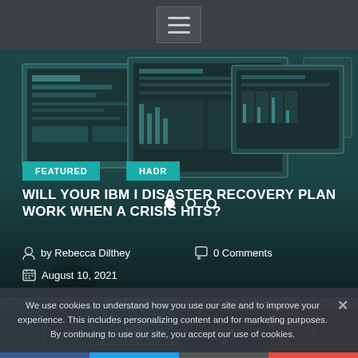[Figure (screenshot): Website navigation bar with hamburger menu icon on dark background]
[Figure (photo): Dark teal-tinted photo of computer monitors showing dashboards and data charts in a control room setting]
FEATURED
HADR
WILL YOUR IBM I DISASTER RECOVERY PLAN WORK WHEN A CRISIS HITS?
by Rebecca Dilthey
0 Comments
August 10, 2021
We use cookies to understand how you use our site and to improve your experience. This includes personalizing content and for marketing purposes. By continuing to use our site, you accept our use of cookies.
Business Intelligence Development Studio
by R...